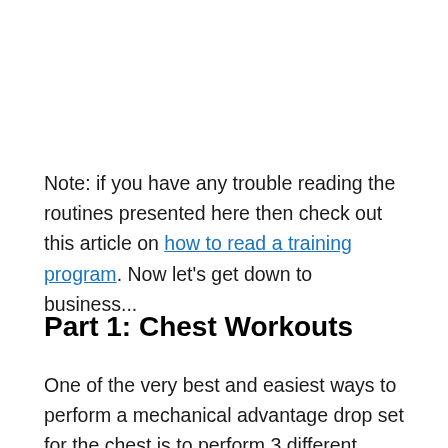Note: if you have any trouble reading the routines presented here then check out this article on how to read a training program. Now let's get down to business...
Part 1: Chest Workouts
One of the very best and easiest ways to perform a mechanical advantage drop set for the chest is to perform 3 different types of incline dumbbell presses in a row. Of course you are much stronger on flat DB